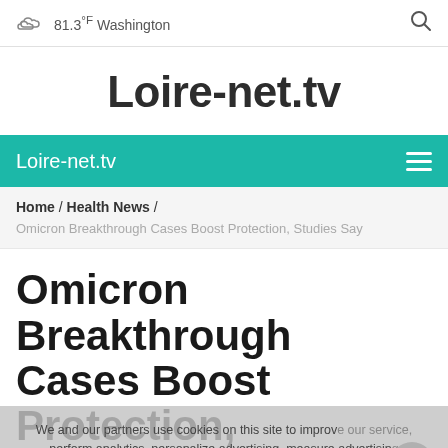81.3°F Washington
Loire-net.tv
Loire-net.tv
Home / Health News /
Omicron Breakthrough Cases Boost Protection, Studies Say
Omicron Breakthrough Cases Boost Protection, Studies Say
We and our partners use cookies on this site to improve our service, perform analytics, personalize advertising, measure advertising performance and remember website preferences.